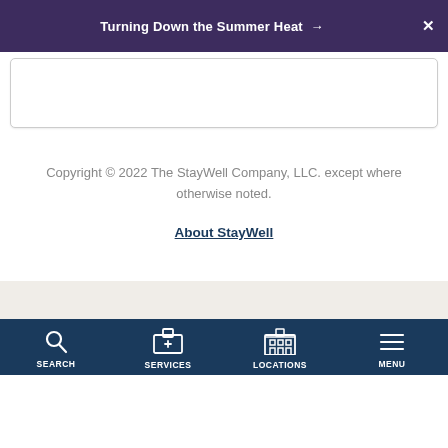Turning Down the Summer Heat →   X
Copyright © 2022 The StayWell Company, LLC. except where otherwise noted.
About StayWell
SEARCH   SERVICES   LOCATIONS   MENU